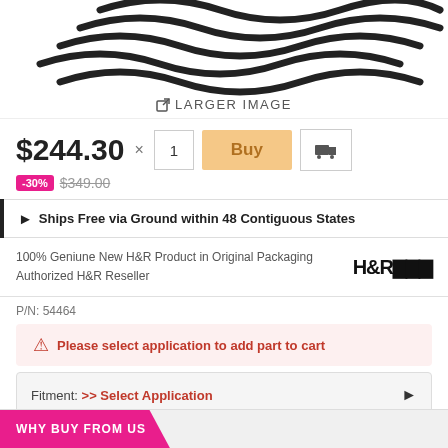[Figure (photo): Black coil springs (H&R) product photo, cropped at top showing spring coils]
LARGER IMAGE
$244.30
-30%  $349.00
Ships Free via Ground within 48 Contiguous States
100% Geniune New H&R Product in Original Packaging
Authorized H&R Reseller
P/N: 54464
Please select application to add part to cart
Fitment: >> Select Application
Height Lowering F/R - 1.0/1.0in; Superb Ride Quality
WHY BUY FROM US